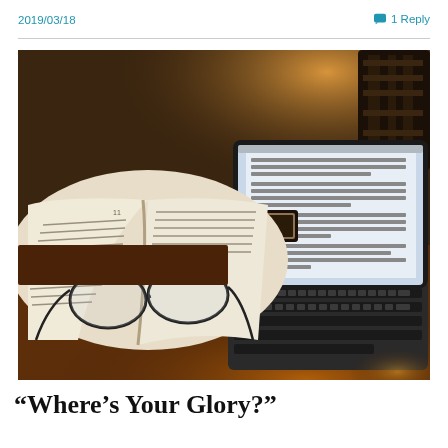2019/03/18
1 Reply
[Figure (photo): Desk scene with an open book with reading glasses resting on it, a name plate reading 'SHAWN THOMA', and a tablet or small laptop with a keyboard showing a document on screen, under warm ambient lighting.]
“Where’s Your Glory?”